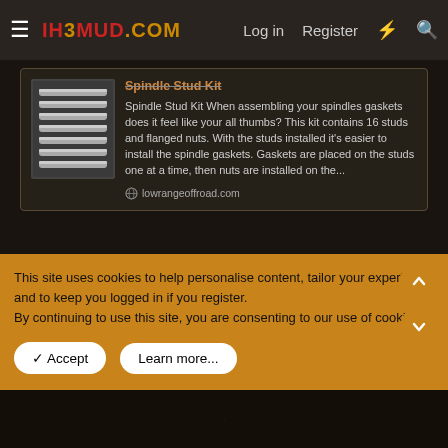IH3MUD.COM  Log in  Register
[Figure (photo): Spindle stud kit product image showing multiple threaded studs]
Spindle Stud Kit
Spindle Stud Kit When assembling your spindles gaskets does it feel like your all thumbs? This kit contains 16 studs and flanged nuts. With the studs installed it's easier to install the spindle gaskets. Gaskets are placed on the studs one at a time, then nuts are installed on the...
lowrangeoffroad.com
mrldcty
This site uses cookies to help personalise content, tailor your experience and to keep you logged in if you register.
By continuing to use this site, you are consenting to our use of cookies.